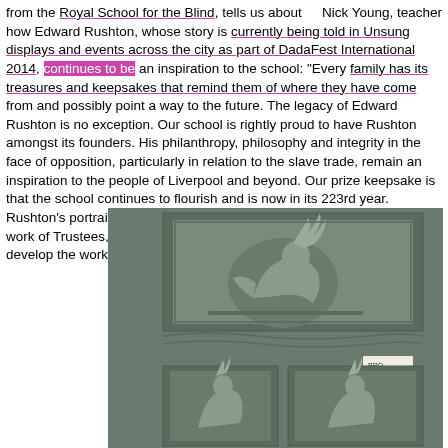Nick Young, teacher from the Royal School for the Blind, tells us about how Edward Rushton, whose story is currently being told in Unsung displays and events across the city as part of DadaFest International 2014, continues to be an inspiration to the school: "Every family has its treasures and keepsakes that remind them of where they have come from and possibly point a way to the future. The legacy of Edward Rushton is no exception. Our school is rightly proud to have Rushton amongst its founders. His philanthropy, philosophy and integrity in the face of opposition, particularly in relation to the slave trade, remain an inspiration to the people of Liverpool and beyond. Our prize keepsake is that the school continues to flourish and is now in its 223rd year. Rushton's portrait has pride of place in our Board Room overseeing the work of Trustees, Governors and Staff as they meet to discuss and develop the work
[Figure (photo): A photograph of a bronze or metal relief plaque showing two panels. The upper panel depicts a crouching or kneeling figure. The lower panel shows two figures. A small label in the lower right reads 'BRO' and 'DO'. The plaque appears dark grey/bronze in color.]